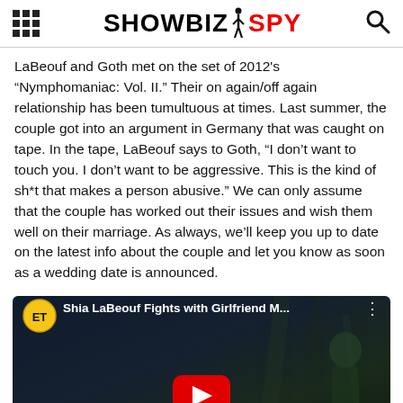SHOWBIZ SPY
LaBeouf and Goth met on the set of 2012's “Nymphomaniac: Vol. II.” Their on again/off again relationship has been tumultuous at times. Last summer, the couple got into an argument in Germany that was caught on tape. In the tape, LaBeouf says to Goth, “I don’t want to touch you. I don’t want to be aggressive. This is the kind of sh*t that makes a person abusive.” We can only assume that the couple has worked out their issues and wish them well on their marriage. As always, we’ll keep you up to date on the latest info about the couple and let you know as soon as a wedding date is announced.
[Figure (screenshot): Embedded YouTube video thumbnail showing 'Shia LaBeouf Fights with Girlfriend M...' with ET logo badge, dark night scene background, and red YouTube play button in center.]